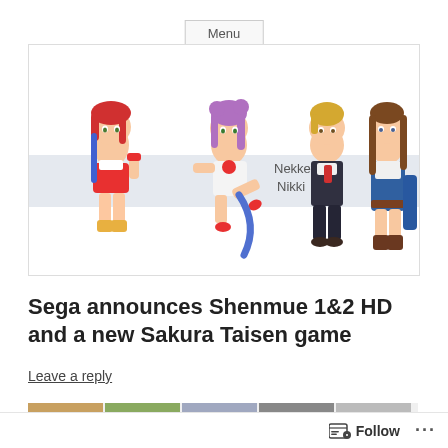Menu
[Figure (illustration): Anime-style chibi characters: four characters shown — a girl with red hair in white/red outfit, a girl with purple hair in white outfit kicking, a blonde boy in dark suit, and a girl with brown hair in blue outfit. A gray banner across the middle reads 'Nekketsu Nikki'.]
Sega announces Shenmue 1&2 HD and a new Sakura Taisen game
Leave a reply
[Figure (screenshot): Partial row of small thumbnail images at bottom of page, partially cropped.]
Follow ...